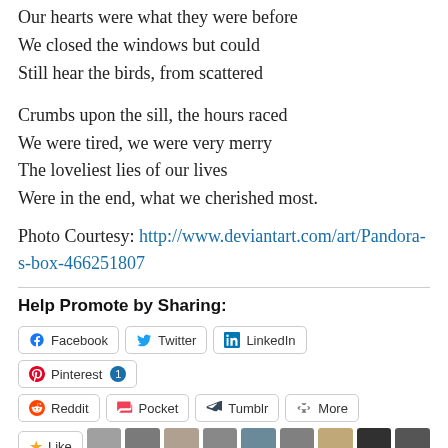Our hearts were what they were before
We closed the windows but could
Still hear the birds, from scattered

Crumbs upon the sill, the hours raced
We were tired, we were very merry
The loveliest lies of our lives
Were in the end, what we cherished most.
Photo Courtesy: http://www.deviantart.com/art/Pandora-s-box-466251807
Help Promote by Sharing:
Facebook  Twitter  LinkedIn  Pinterest 1  Reddit  Pocket  Tumblr  More